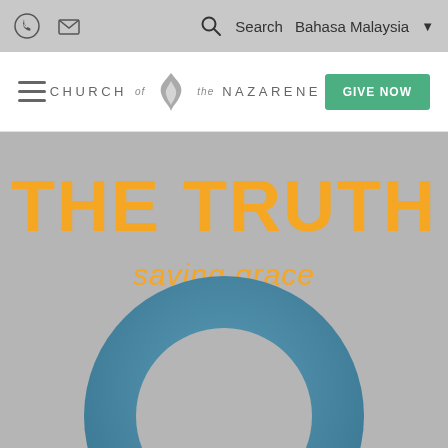Phone | Mail | Search | Bahasa Malaysia
[Figure (logo): Church of the Nazarene logo with flame icon and text CHURCH OF THE NAZARENE, plus GIVE NOW green button and hamburger menu]
THE TRUTH
saving grace
[Figure (illustration): Large teal/steel-blue donut ring shape (thick circle with hollow center) on grey background]